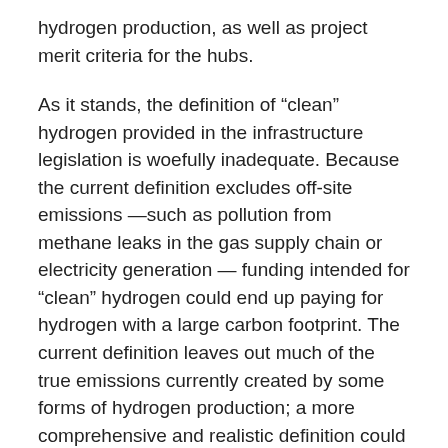hydrogen production, as well as project merit criteria for the hubs.
As it stands, the definition of “clean” hydrogen provided in the infrastructure legislation is woefully inadequate. Because the current definition excludes off-site emissions —such as pollution from methane leaks in the gas supply chain or electricity generation — funding intended for “clean” hydrogen could end up paying for hydrogen with a large carbon footprint. The current definition leaves out much of the true emissions currently created by some forms of hydrogen production; a more comprehensive and realistic definition could account for 2 to 10 times greater emissions.
A better path forward is possible, and it could be a major opportunity for the American economy. Adopting a carbon